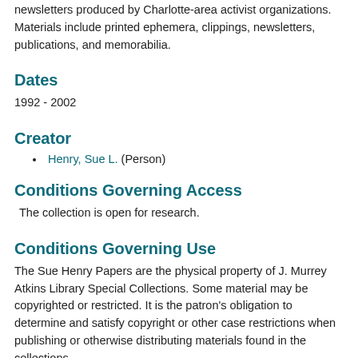newsletters produced by Charlotte-area activist organizations. Materials include printed ephemera, clippings, newsletters, publications, and memorabilia.
Dates
1992 - 2002
Creator
Henry, Sue L. (Person)
Conditions Governing Access
The collection is open for research.
Conditions Governing Use
The Sue Henry Papers are the physical property of J. Murrey Atkins Library Special Collections. Some material may be copyrighted or restricted. It is the patron's obligation to determine and satisfy copyright or other case restrictions when publishing or otherwise distributing materials found in the collections.